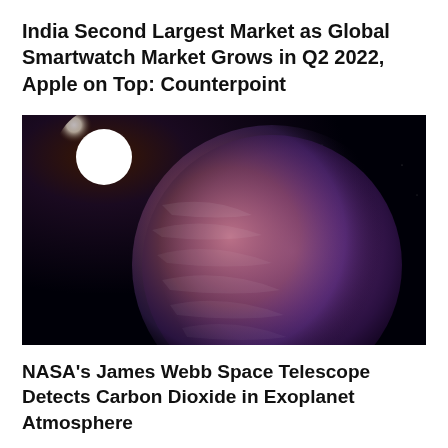India Second Largest Market as Global Smartwatch Market Grows in Q2 2022, Apple on Top: Counterpoint
[Figure (photo): Space illustration showing a large exoplanet with a pinkish-purple atmosphere against a dark background, with a bright white star visible to the upper left.]
NASA's James Webb Space Telescope Detects Carbon Dioxide in Exoplanet Atmosphere